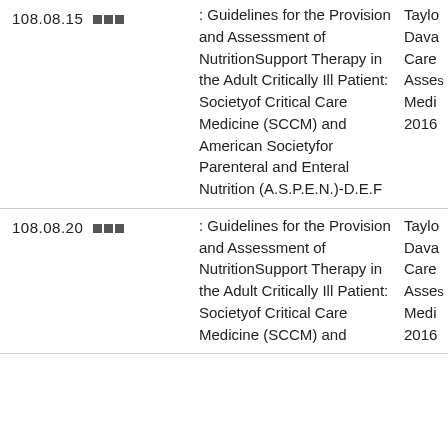| Code | Title | Author |
| --- | --- | --- |
| 108.08.15 ■■■ | : Guidelines for the Provision and Assessment of NutritionSupport Therapy in the Adult Critically Ill Patient: Societyof Critical Care Medicine (SCCM) and American Societyfor Parenteral and Enteral Nutrition (A.S.P.E.N.)-D.E.F | Taylo Dava Care Asses Medi 2016 |
| 108.08.20 ■■■ | : Guidelines for the Provision and Assessment of NutritionSupport Therapy in the Adult Critically Ill Patient: Societyof Critical Care Medicine (SCCM) and | Taylo Dava Care Asses Medi 2016 |